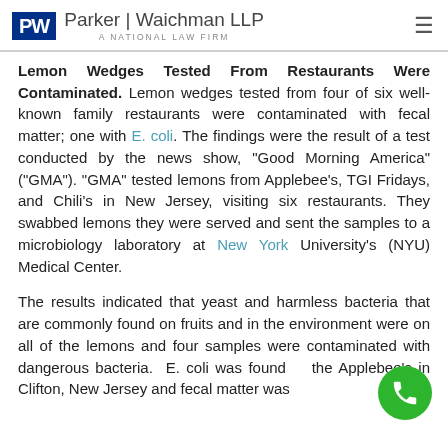Parker | Waichman LLP A NATIONAL LAW FIRM
Lemon Wedges Tested From Restaurants Were Contaminated. Lemon wedges tested from four of six well-known family restaurants were contaminated with fecal matter; one with E. coli. The findings were the result of a test conducted by the news show, "Good Morning America" ("GMA"). "GMA" tested lemons from Applebee's, TGI Fridays, and Chili's in New Jersey, visiting six restaurants. They swabbed lemons they were served and sent the samples to a microbiology laboratory at New York University's (NYU) Medical Center.
The results indicated that yeast and harmless bacteria that are commonly found on fruits and in the environment were on all of the lemons and four samples were contaminated with dangerous bacteria. E. coli was found at the Applebee's in Clifton, New Jersey and fecal matter was